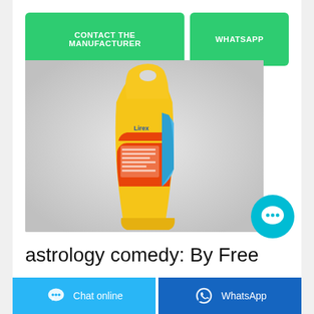CONTACT THE MANUFACTURER
WHATSAPP
[Figure (photo): Side view of a yellow/orange consumer product bag (appears to be a cleaning or food product) with label text, standing upright against a light grey background.]
astrology comedy: By Free
Chat online
WhatsApp